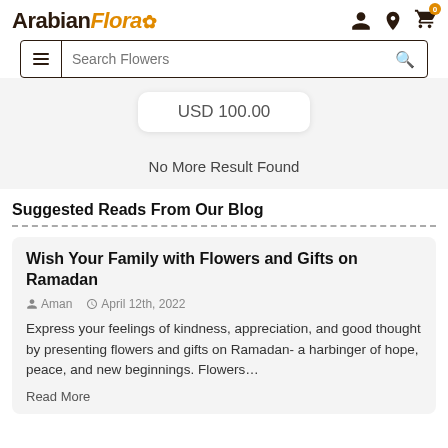ArabianFlora
USD 100.00
No More Result Found
Suggested Reads From Our Blog
Wish Your Family with Flowers and Gifts on Ramadan
Aman   April 12th, 2022
Express your feelings of kindness, appreciation, and good thought by presenting flowers and gifts on Ramadan- a harbinger of hope, peace, and new beginnings. Flowers…
Read More